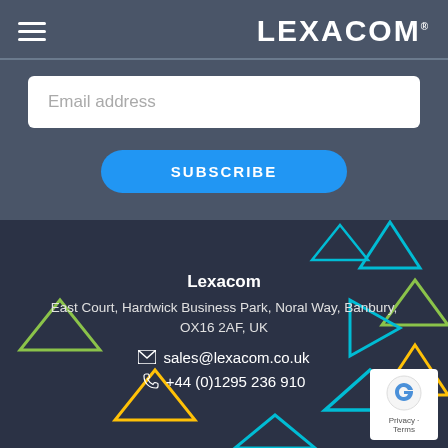[Figure (logo): Lexacom logo with hamburger menu icon on the left and LEXACOM wordmark on the right, white on gray background]
Email address
SUBSCRIBE
Lexacom
East Court, Hardwick Business Park, Noral Way, Banbury, OX16 2AF, UK
sales@lexacom.co.uk
+44 (0)1295 236 910
[Figure (illustration): Decorative colorful triangle outlines scattered in background (cyan, yellow-green, yellow, teal)]
[Figure (logo): Google reCAPTCHA badge with robot icon and Privacy/Terms text]